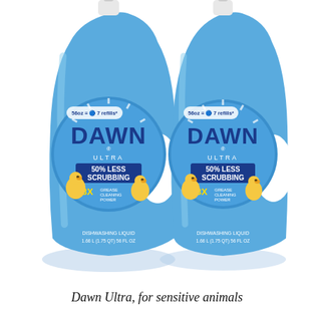[Figure (photo): Two Dawn Ultra dish soap bottles (56 oz, 7 refills) in blue, side by side. Labels show '50% Less Scrubbing' and '3X Grease Cleaning Power'. Each bottle shows a rubber duck mascot and reads 'DISHWASHING LIQUID 1.66 L (1.75 QT) 56 FL OZ'.]
Dawn Ultra, for sensitive animals